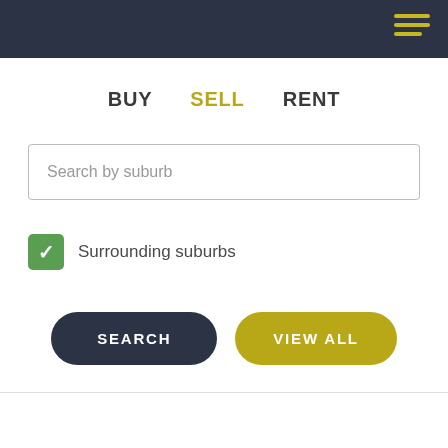[Figure (screenshot): Dark navy header bar with hamburger menu icon (three lines, olive/yellow color) in top-right corner]
BUY   SELL   RENT
Search by suburb
Surrounding suburbs
SEARCH
VIEW ALL